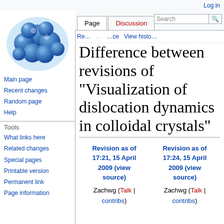Log in
[Figure (illustration): Wikipedia logo: blue spheres/balls clustered in a circular arrangement on a light blue background]
Main page
Recent changes
Random page
Help
Tools
What links here
Related changes
Special pages
Printable version
Permanent link
Page information
Difference between revisions of "Visualization of dislocation dynamics in colloidal crystals"
| Revision as of 17:21, 15 April 2009 (view source) | Revision as of 17:24, 15 April 2009 (view source) |
| --- | --- |
| Zachwg (Talk | contribs) | Zachwg (Talk | contribs) |